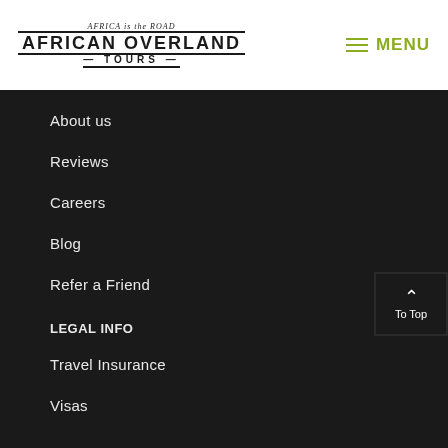[Figure (logo): African Overland Tours logo with text 'AFRICA is the ROAD' on top, 'AFRICAN OVERLAND' in large bold text with borders, and 'TOURS' below]
MENU
About us
Reviews
Careers
Blog
Refer a Friend
LEGAL INFO
Travel Insurance
Visas